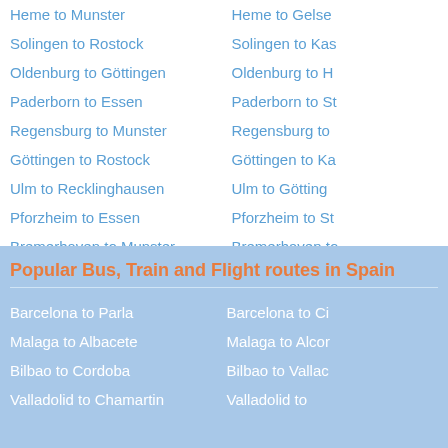Heme to Munster
Heme to Gelsenkirchen
Solingen to Rostock
Solingen to Kassel
Oldenburg to Göttingen
Oldenburg to Herne
Paderborn to Essen
Paderborn to Stuttgart
Regensburg to Munster
Regensburg to
Göttingen to Rostock
Göttingen to Kassel
Ulm to Recklinghausen
Ulm to Göttingen
Pforzheim to Essen
Pforzheim to Stuttgart
Bremerhaven to Munster
Bremerhaven to
Reutlingen to Rostock
Reutlingen to Kassel
Popular Bus, Train and Flight routes in Spain
Barcelona to Parla
Barcelona to Ciudad Real
Malaga to Albacete
Malaga to Alcorcon
Bilbao to Cordoba
Bilbao to Valladolid
Valladolid to Chamartin
Valladolid to